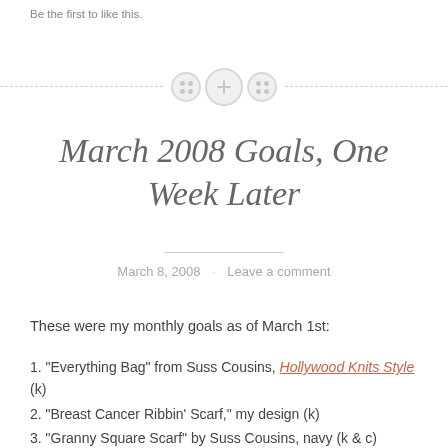Be the first to like this.
[Figure (illustration): Decorative divider with three button-like circles on a dashed horizontal line]
March 2008 Goals, One Week Later
March 8, 2008 · Leave a comment
These were my monthly goals as of March 1st:
1. "Everything Bag" from Suss Cousins, Hollywood Knits Style (k)
2. "Breast Cancer Ribbin' Scarf," my design (k)
3. "Granny Square Scarf" by Suss Cousins, navy (k & c)
4. "Granny Square Scarf" by Suss Cousins, claret (k & c)